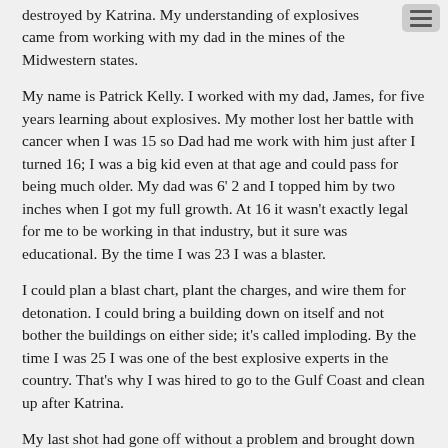destroyed by Katrina. My understanding of explosives came from working with my dad in the mines of the Midwestern states.
My name is Patrick Kelly. I worked with my dad, James, for five years learning about explosives. My mother lost her battle with cancer when I was 15 so Dad had me work with him just after I turned 16; I was a big kid even at that age and could pass for being much older. My dad was 6' 2 and I topped him by two inches when I got my full growth. At 16 it wasn't exactly legal for me to be working in that industry, but it sure was educational. By the time I was 23 I was a blaster.
I could plan a blast chart, plant the charges, and wire them for detonation. I could bring a building down on itself and not bother the buildings on either side; it's called imploding. By the time I was 25 I was one of the best explosive experts in the country. That's why I was hired to go to the Gulf Coast and clean up after Katrina.
My last shot had gone off without a problem and brought down two three story buildings at the same time; they had